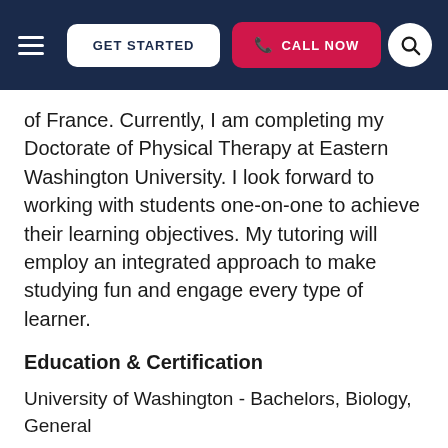GET STARTED | CALL NOW
of France. Currently, I am completing my Doctorate of Physical Therapy at Eastern Washington University. I look forward to working with students one-on-one to achieve their learning objectives. My tutoring will employ an integrated approach to make studying fun and engage every type of learner.
Education & Certification
University of Washington - Bachelors, Biology, General
Eastern Washington University - Current Grad Student, Doctorate of Physical Therapy
View this Cle Elum Tutor